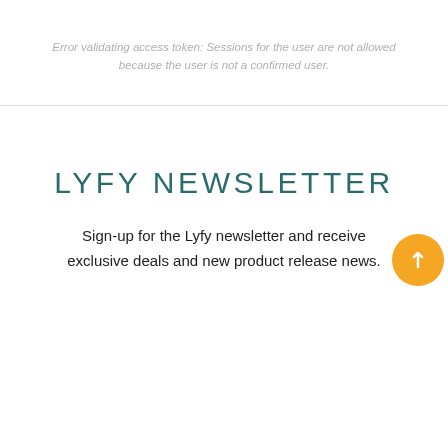Error validating access token: Sessions for the user are not allowed because the user is not a confirmed user.
LYFY NEWSLETTER
Sign-up for the Lyfy newsletter and receive exclusive deals and new product release news.